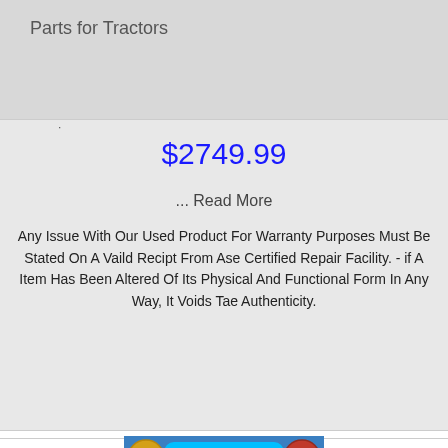Parts for Tractors
$2749.99
... Read More
Any Issue With Our Used Product For Warranty Purposes Must Be Stated On A Vaild Recipt From Ase Certified Repair Facility. - if A Item Has Been Altered Of Its Physical And Functional Form In Any Way, It Voids Tae Authenticity.
[Figure (photo): Advertisement banner showing a 63in Cold Laminator, Full-auto & Heat Assisted product with CE mark and 100% satisfaction seal]